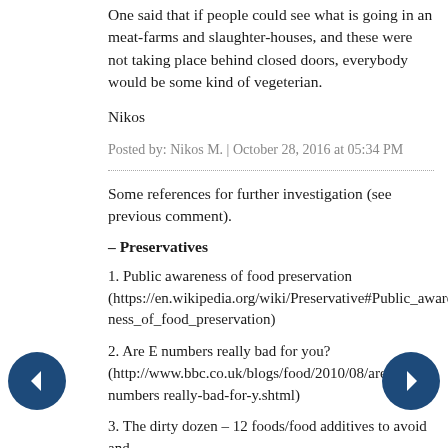One said that if people could see what is going in an meat-farms and slaughter-houses, and these were not taking place behind closed doors, everybody would be some kind of vegeterian.
Nikos
Posted by: Nikos M. | October 28, 2016 at 05:34 PM
Some references for further investigation (see previous comment).
– Preservatives
1. Public awareness of food preservation (https://en.wikipedia.org/wiki/Preservative#Public_awareness_of_food_preservation)
2. Are E numbers really bad for you? (http://www.bbc.co.uk/blogs/food/2010/08/are-e-numbers-really-bad-for-y.shtml)
3. The dirty dozen – 12 foods/food additives to avoid and